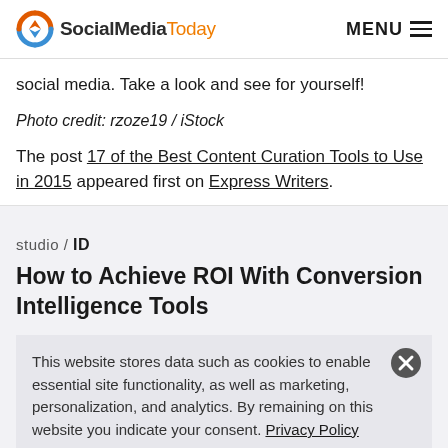SocialMediaToday  MENU
social media. Take a look and see for yourself!
Photo credit: rzoze19 / iStock
The post 17 of the Best Content Curation Tools to Use in 2015 appeared first on Express Writers.
studio / ID
How to Achieve ROI With Conversion Intelligence Tools
This website stores data such as cookies to enable essential site functionality, as well as marketing, personalization, and analytics. By remaining on this website you indicate your consent. Privacy Policy